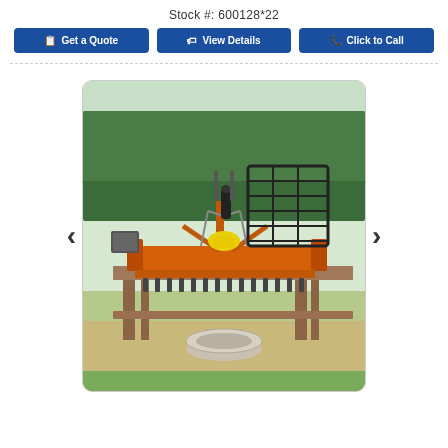Stock #: 600128*22
Get a Quote
View Details
Click to Call
[Figure (photo): Orange rotary tiller / tillage equipment mounted on a wooden workbench outdoors, with trees in the background, a concrete culvert pipe under the bench, and a yellow component visible on the tiller. A black cab guard frame is visible behind the equipment.]